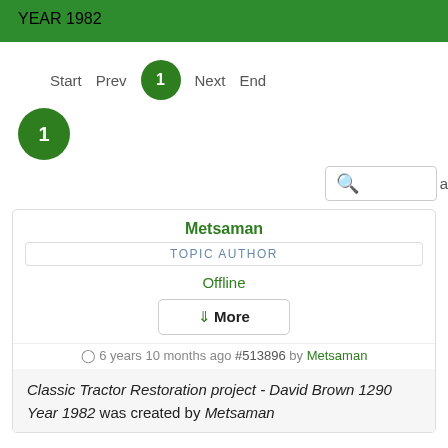YEAR 1982
Start   Prev   1   Next   End
1
Metsaman
TOPIC AUTHOR
Offline
↓More
⊙ 6 years 10 months ago #513896 by Metsaman
Classic Tractor Restoration project - David Brown 1290 Year 1982 was created by Metsaman